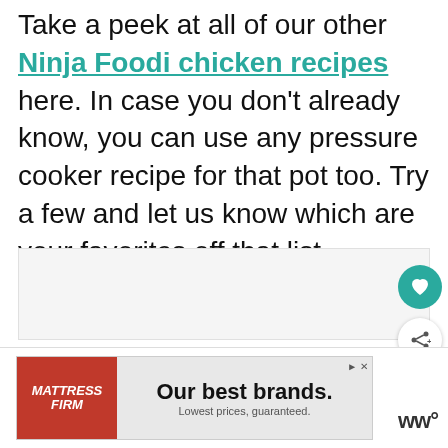Take a peek at all of our other Ninja Foodi chicken recipes here. In case you don't already know, you can use any pressure cooker recipe for that pot too. Try a few and let us know which are your favorites off that list.
[Figure (screenshot): Light gray content placeholder area below the main text]
[Figure (infographic): Floating UI: teal heart button and white share button on right side]
[Figure (infographic): What's Next card showing Best Air Fryer Chicken... with thumbnail]
[Figure (infographic): Advertisement banner: Mattress Firm - Our best brands. Lowest prices, guaranteed.]